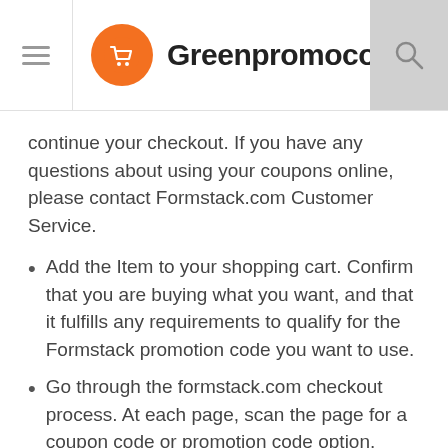Greenpromocode.com
continue your checkout. If you have any questions about using your coupons online, please contact Formstack.com Customer Service.
Add the Item to your shopping cart. Confirm that you are buying what you want, and that it fulfills any requirements to qualify for the Formstack promotion code you want to use.
Go through the formstack.com checkout process. At each page, scan the page for a coupon code or promotion code option. Copy and paste the Formstack coupon code in the box next to the product and click "Apply" or "Submit"...
Scan your shopping cart to confirm that the coupon code was properly entered.